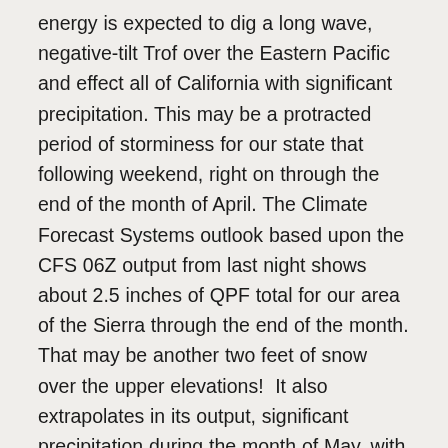energy is expected to dig a long wave, negative-tilt Trof over the Eastern Pacific and effect all of California with significant precipitation. This may be a protracted period of storminess for our state that following weekend, right on through the end of the month of April. The Climate Forecast Systems outlook based upon the CFS 06Z output from last night shows about 2.5 inches of QPF total for our area of the Sierra through the end of the month. That may be another two feet of snow over the upper elevations!  It also extrapolates in its output, significant precipitation during the month of May, with as much as 1.6 to 1.8 inches of QPF for the Mammoth area. So we may not be quite done yet. Of note…the latest long-range guidance from the 12z Friday the 18th GFS output shows the storm coming in Saturday morning the 26th (Timing Subject to change) has a large cold pool of -10 to -15C at 700MB in the low off shore and